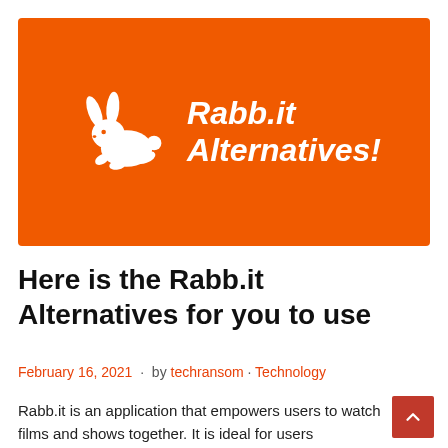[Figure (illustration): Orange banner with white running rabbit logo and bold italic white text reading 'Rabb.it Alternatives!']
Here is the Rabb.it Alternatives for you to use
February 16, 2021  ·  by techransom · Technology
Rabb.it is an application that empowers users to watch films and shows together. It is ideal for users